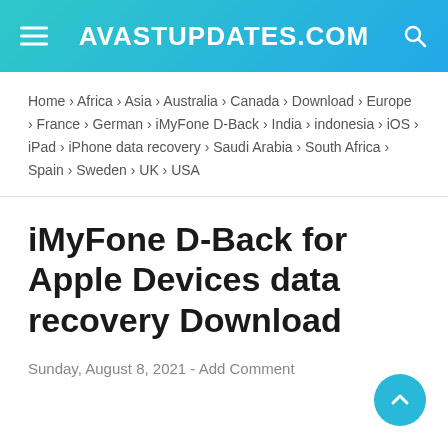AVASTUPDATES.COM
Home › Africa › Asia › Australia › Canada › Download › Europe › France › German › iMyFone D-Back › India › indonesia › iOS › iPad › iPhone data recovery › Saudi Arabia › South Africa › Spain › Sweden › UK › USA
iMyFone D-Back for Apple Devices data recovery Download
Sunday, August 8, 2021  -  Add Comment